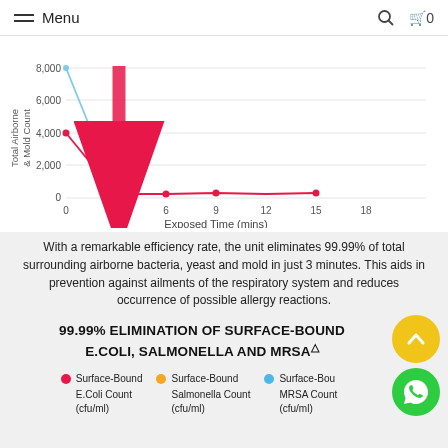Menu
[Figure (line-chart): Total Airborne & Mold Count vs Exposed Time]
With a remarkable efficiency rate, the unit eliminates 99.99% of total surrounding airborne bacteria, yeast and mold in just 3 minutes. This aids in prevention against ailments of the respiratory system and reduces occurrence of possible allergy reactions.
99.99% ELIMINATION OF SURFACE-BOUND E.COLI, SALMONELLA AND MRSA△
Surface-Bound E.Coli Count (cfu/ml)
Surface-Bound Salmonella Count (cfu/ml)
Surface-Bound MRSA Count (cfu/ml)